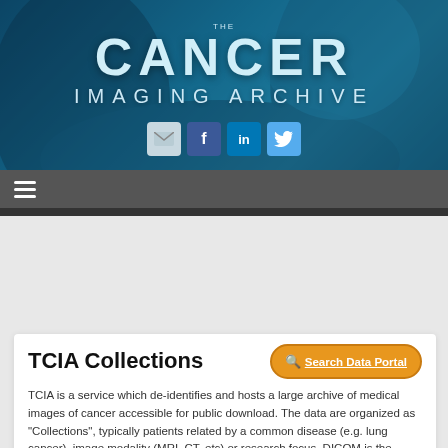[Figure (photo): The Cancer Imaging Archive website header banner with blue medical/surgical background image, logo text reading THE CANCER IMAGING ARCHIVE, and social media icons (email, Facebook, LinkedIn, Twitter)]
[Figure (screenshot): Tutorial video banner with Cancer Imaging Archive logo on left, play button in center, and text on right: CLICK TO WATCH AND LEARN / HOW TO USE AND ACCESS / THE CANCER IMAGING ARCHIVE]
TCIA Collections
TCIA is a service which de-identifies and hosts a large archive of medical images of cancer accessible for public download. The data are organized as “Collections”, typically patients related by a common disease (e.g. lung cancer), image modality (MRI, CT, etc) or research focus. DICOM is the primary file format used by TCIA for image storage. Supporting data related to the images such as patient